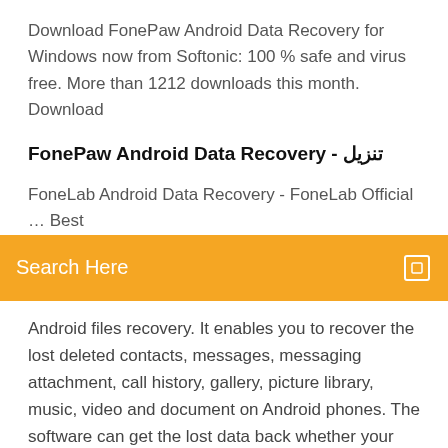Download FonePaw Android Data Recovery for Windows now from Softonic: 100 % safe and virus free. More than 1212 downloads this month. Download
FonePaw Android Data Recovery - تنزيل
FoneLab Android Data Recovery - FoneLab Official … Best
Search Here
Android files recovery. It enables you to recover the lost deleted contacts, messages, messaging attachment, call history, gallery, picture library, music, video and document on Android phones. The software can get the lost data back whether your Android device is Télécharger FonePaw Récupération De Données Android ... FonePaw Récupération De Données Android est un logiciel payant pour Windows et Mac qui va vous permettre de récupérer vos données perdues ou non dans votre smartphone Android. C'est une sorte de programme de